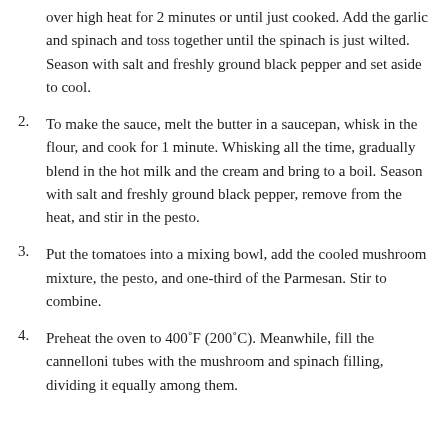over high heat for 2 minutes or until just cooked. Add the garlic and spinach and toss together until the spinach is just wilted. Season with salt and freshly ground black pepper and set aside to cool.
2. To make the sauce, melt the butter in a saucepan, whisk in the flour, and cook for 1 minute. Whisking all the time, gradually blend in the hot milk and the cream and bring to a boil. Season with salt and freshly ground black pepper, remove from the heat, and stir in the pesto.
3. Put the tomatoes into a mixing bowl, add the cooled mushroom mixture, the pesto, and one-third of the Parmesan. Stir to combine.
4. Preheat the oven to 400˚F (200˚C). Meanwhile, fill the cannelloni tubes with the mushroom and spinach filling, dividing it equally among them.